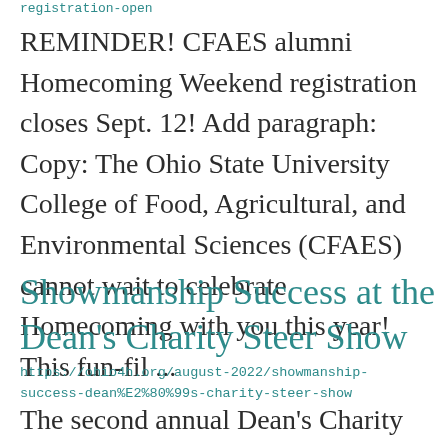registration-open
REMINDER! CFAES alumni Homecoming Weekend registration closes Sept. 12! Add paragraph:  Copy:  The Ohio State University College of Food, Agricultural, and Environmental Sciences (CFAES) cannot wait to celebrate Homecoming with you this year! This fun-fil ...
Showmanship Success at the Dean's Charity Steer Show
https://ohio4h.org/august-2022/showmanship-success-dean%E2%80%99s-charity-steer-show
The second annual Dean's Charity Steer Show returned to the Ohio State Fair this